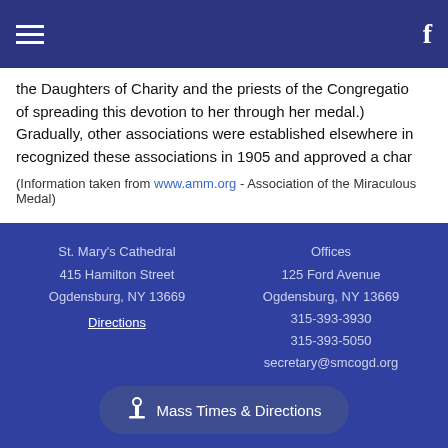Navigation bar with hamburger menu and Facebook icon
the Daughters of Charity and the priests of the Congregation of spreading this devotion to her through her medal.) Gradually, other associations were established elsewhere in recognized these associations in 1905 and approved a char
(Information taken from www.amm.org - Association of the Miraculous Medal)
St. Mary's Cathedral | 415 Hamilton Street | Ogdensburg, NY 13669 | Directions | Offices | 125 Ford Avenue | Ogdensburg, NY 13669 | 315-393-3930 | 315-393-5050 | secretary@smcogd.org | Mass Times & Directions